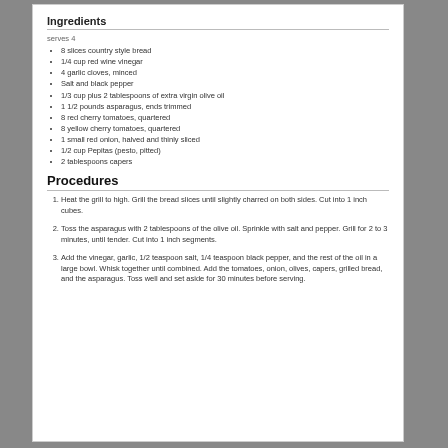serves 4
8 slices country style bread
1/4 cup red wine vinegar
4 garlic cloves, minced
Salt and black pepper
1/3 cup plus 2 tablespoons of extra virgin olive oil
1 1/2 pounds asparagus, ends trimmed
8 red cherry tomatoes, quartered
8 yellow cherry tomatoes, quartered
1 small red onion, halved and thinly sliced
1/2 cup Pepitas (pesto, pitted)
2 tablespoons capers
Procedures
Heat the grill to high. Grill the bread slices until slightly charred on both sides. Cut into 1 inch cubes.
Toss the asparagus with 2 tablespoons of the olive oil. Sprinkle with salt and pepper. Grill for 2 to 3 minutes, until tender. Cut into 1 inch segments.
Add the vinegar, garlic, 1/2 teaspoon salt, 1/4 teaspoon black pepper, and the rest of the oil in a large bowl. Whisk together until combined. Add the tomatoes, onion, olives, capers, grilled bread, and the asparagus. Toss well and set aside for 30 minutes before serving.